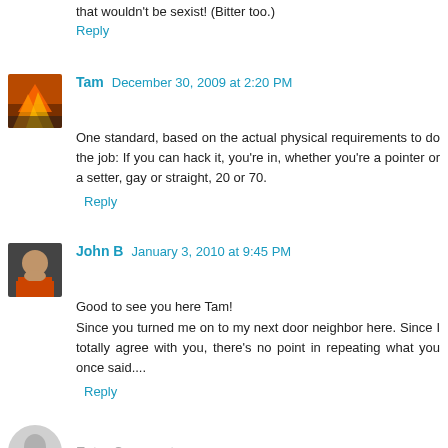that wouldn't be sexist! (Bitter too.)
Reply
Tam  December 30, 2009 at 2:20 PM
One standard, based on the actual physical requirements to do the job: If you can hack it, you're in, whether you're a pointer or a setter, gay or straight, 20 or 70.
Reply
John B  January 3, 2010 at 9:45 PM
Good to see you here Tam!
Since you turned me on to my next door neighbor here. Since I totally agree with you, there's no point in repeating what you once said....
Reply
Enter Comment